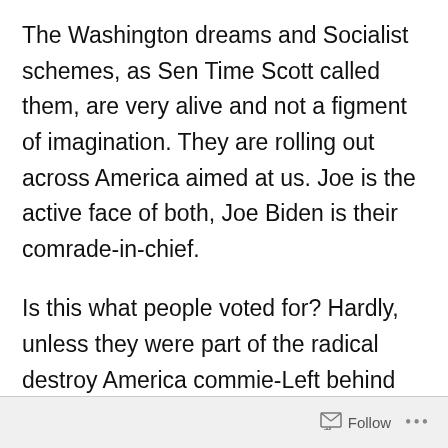The Washington dreams and Socialist schemes, as Sen Time Scott called them, are very alive and not a figment of imagination. They are rolling out across America aimed at us. Joe is the active face of both, Joe Biden is their comrade-in-chief.
Is this what people voted for? Hardly, unless they were part of the radical destroy America commie-Left behind the campaign curtain. It is a war on America at every level: energy, economic, education, border
Follow ···